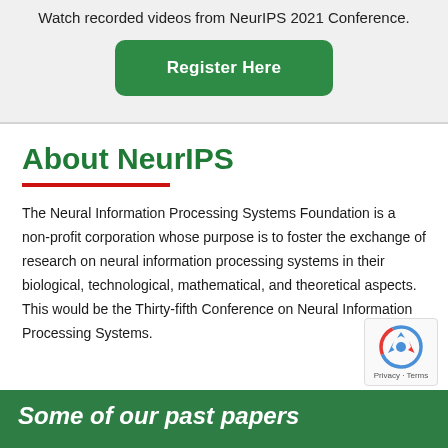Watch recorded videos from NeurIPS 2021 Conference.
[Figure (other): Green 'Register Here' button]
About NeurIPS
The Neural Information Processing Systems Foundation is a non-profit corporation whose purpose is to foster the exchange of research on neural information processing systems in their biological, technological, mathematical, and theoretical aspects. This would be the Thirty-fifth Conference on Neural Information Processing Systems.
[Figure (other): reCAPTCHA badge with Privacy and Terms]
Some of our past papers